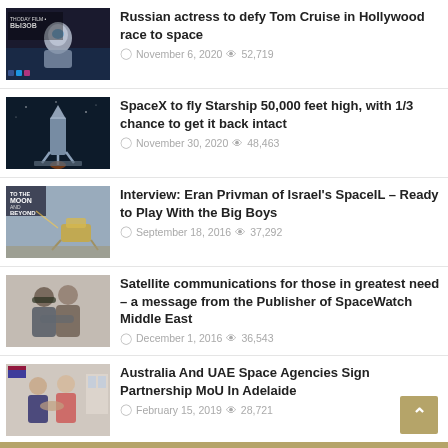Russian actress to defy Tom Cruise in Hollywood race to space — November 6, 2020 — 52,719 views
SpaceX to fly Starship 50,000 feet high, with 1/3 chance to get it back intact — November 30, 2020 — 48,463 views
Interview: Eran Privman of Israel's SpaceIL – Ready to Play With the Big Boys — September 18, 2016 — 37,292 views
Satellite communications for those in greatest need – a message from the Publisher of SpaceWatch Middle East — December 1, 2016 — 36,543 views
Australia And UAE Space Agencies Sign Partnership MoU In Adelaide — February 15, 2019 — 28,721 views